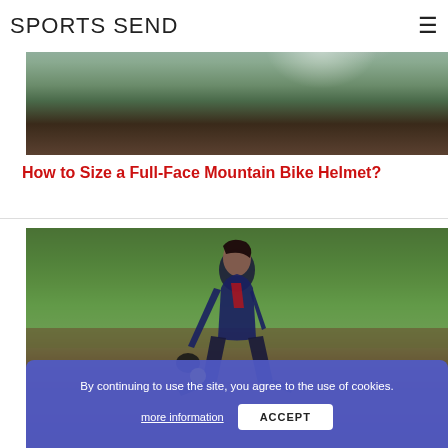SPORTS SEND
[Figure (photo): Mountain bike on a dirt road with outdoor background, natural landscape]
How to Size a Full-Face Mountain Bike Helmet?
[Figure (photo): Female softball player fielding a ball on a dirt infield, wearing dark navy uniform, crouching low]
By continuing to use the site, you agree to the use of cookies.
more information
ACCEPT